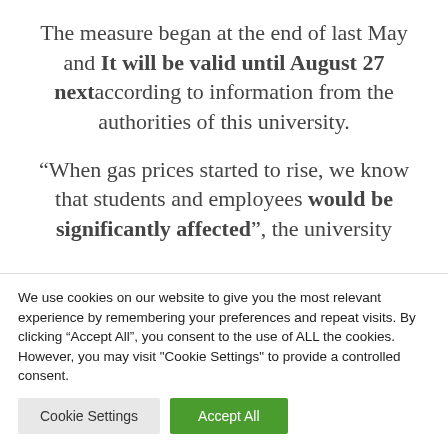The measure began at the end of last May and It will be valid until August 27 next according to information from the authorities of this university.
“When gas prices started to rise, we know that students and employees would be significantly affected”, the university
We use cookies on our website to give you the most relevant experience by remembering your preferences and repeat visits. By clicking “Accept All”, you consent to the use of ALL the cookies. However, you may visit "Cookie Settings" to provide a controlled consent.